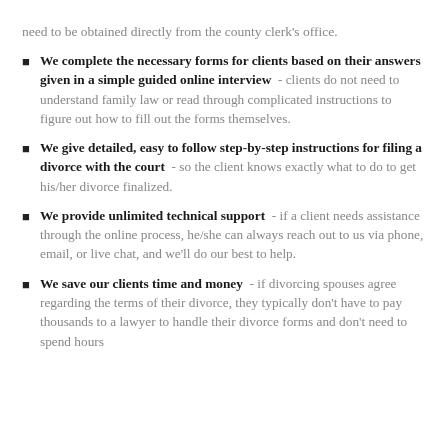need to be obtained directly from the county clerk's office.
We complete the necessary forms for clients based on their answers given in a simple guided online interview - clients do not need to understand family law or read through complicated instructions to figure out how to fill out the forms themselves.
We give detailed, easy to follow step-by-step instructions for filing a divorce with the court - so the client knows exactly what to do to get his/her divorce finalized.
We provide unlimited technical support - if a client needs assistance through the online process, he/she can always reach out to us via phone, email, or live chat, and we'll do our best to help.
We save our clients time and money - if divorcing spouses agree regarding the terms of their divorce, they typically don't have to pay thousands to a lawyer to handle their divorce forms and don't need to spend hours